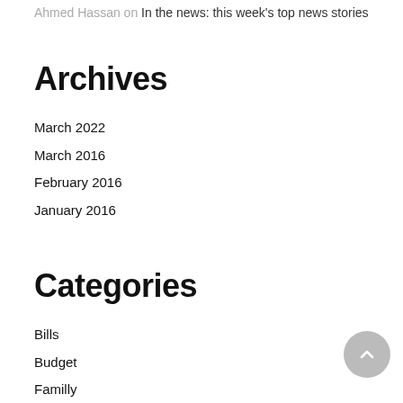Ahmed Hassan on In the news: this week's top news stories
Archives
March 2022
March 2016
February 2016
January 2016
Categories
Bills
Budget
Familly
News
Shoping